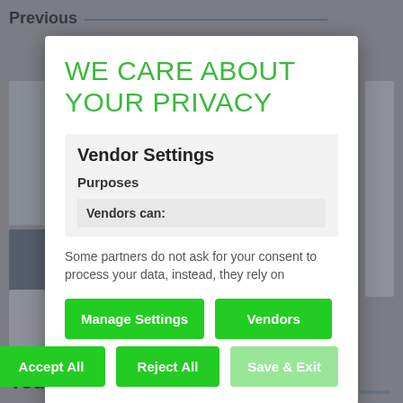Previous
WE CARE ABOUT YOUR PRIVACY
Vendor Settings
Purposes
Vendors can:
Some partners do not ask for your consent to process your data, instead, they rely on
Manage Settings
Vendors
Accept All
Reject All
Save & Exit
You May Also Like